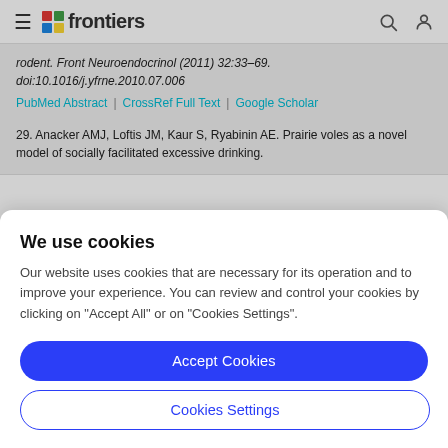frontiers
rodent. Front Neuroendocrinol (2011) 32:33–69. doi:10.1016/j.yfrne.2010.07.006
PubMed Abstract | CrossRef Full Text | Google Scholar
29. Anacker AMJ, Loftis JM, Kaur S, Ryabinin AE. Prairie voles as a novel model of socially facilitated excessive drinking.
We use cookies
Our website uses cookies that are necessary for its operation and to improve your experience. You can review and control your cookies by clicking on "Accept All" or on "Cookies Settings".
Accept Cookies
Cookies Settings